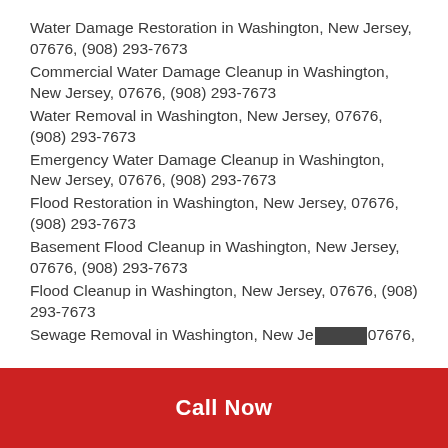Water Damage Restoration in Washington, New Jersey, 07676, (908) 293-7673
Commercial Water Damage Cleanup in Washington, New Jersey, 07676, (908) 293-7673
Water Removal in Washington, New Jersey, 07676, (908) 293-7673
Emergency Water Damage Cleanup in Washington, New Jersey, 07676, (908) 293-7673
Flood Restoration in Washington, New Jersey, 07676, (908) 293-7673
Basement Flood Cleanup in Washington, New Jersey, 07676, (908) 293-7673
Flood Cleanup in Washington, New Jersey, 07676, (908) 293-7673
Sewage Removal in Washington, New Jersey, 07676,
Call Now